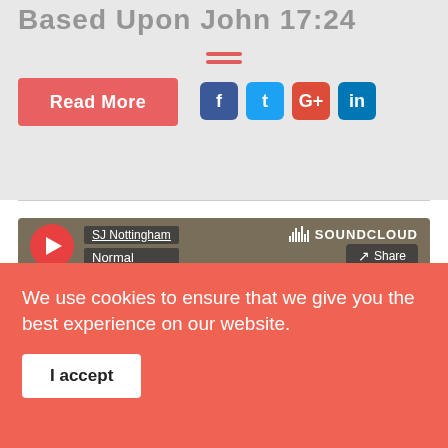Based Upon John 17:24
[Figure (screenshot): Read More button in red/salmon color]
[Figure (screenshot): Social share icons: Facebook, Twitter, Google+, LinkedIn]
[Figure (screenshot): SoundCloud embedded audio player showing SJ Nottingham, Normal quality, Play on SoundCloud button, Listen in browser button]
We use cookies to ensure that we give you the best experience on our website.
I accept